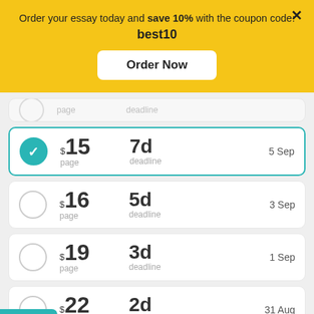Order your essay today and save 10% with the coupon code: best10
Order Now
page | deadline
$15 page | 7d deadline | 5 Sep
$16 page | 5d deadline | 3 Sep
$19 page | 3d deadline | 1 Sep
$22 page | 2d deadline | 31 Aug